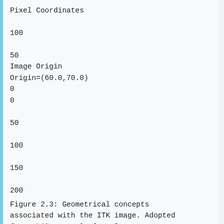Pixel Coordinates

100

50
Image Origin
Origin=(60.0,70.0)
0
0

50

100

150

200
Figure 2.3: Geometrical concepts associated with the ITK image. Adopted from Ibáñez et al. [2005]. chapter, but in Chapter 6. The